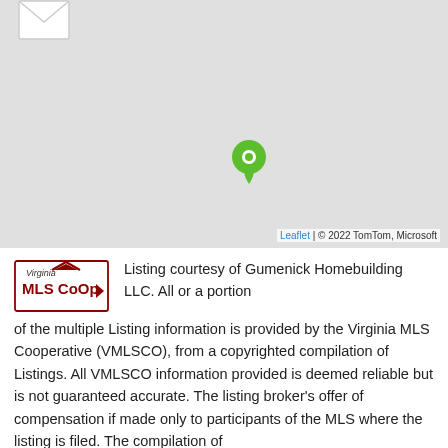[Figure (map): Gray map background with a green location pin marker in the center area, and an envelope icon in the top-left corner. Attribution reads: Leaflet | © 2022 TomTom, Microsoft]
Listing courtesy of Gumenick Homebuilding LLC. All or a portion of the multiple Listing information is provided by the Virginia MLS Cooperative (VMLSCO), from a copyrighted compilation of Listings. All VMLSCO information provided is deemed reliable but is not guaranteed accurate. The listing broker's offer of compensation if made only to participants of the MLS where the listing is filed. The compilation of